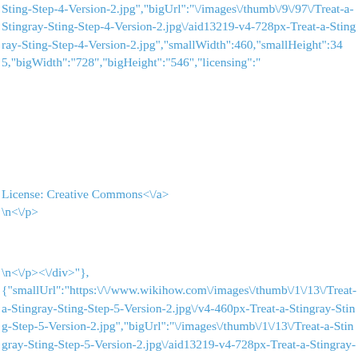Sting-Step-4-Version-2.jpg","bigUrl":"\/images\/thumb\/9\/97\/Treat-a-Stingray-Sting-Step-4-Version-2.jpg\/aid13219-v4-728px-Treat-a-Stingray-Sting-Step-4-Version-2.jpg","smallWidth":460,"smallHeight":345,"bigWidth":"728","bigHeight":"546","licensing":"
License: Creative Commons<\/a>
\n<\/p>
\n<\/p><\/div>"},{"smallUrl":"https:\/\/www.wikihow.com\/images\/thumb\/1\/13\/Treat-a-Stingray-Sting-Step-5-Version-2.jpg\/v4-460px-Treat-a-Stingray-Sting-Step-5-Version-2.jpg","bigUrl":"\/images\/thumb\/1\/13\/Treat-a-Stingray-Sting-Step-5-Version-2.jpg\/aid13219-v4-728px-Treat-a-Stingray-Sting-Step-5-Version-